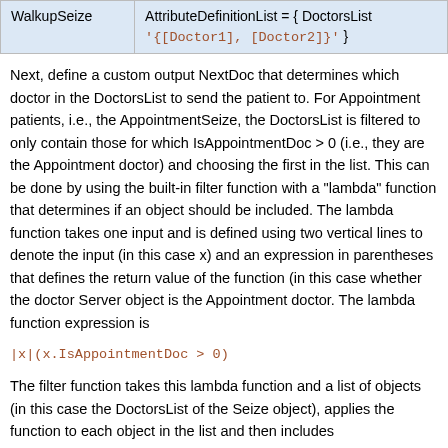|  |  |
| --- | --- |
| WalkupSeize | AttributeDefinitionList = { DoctorsList
'{[Doctor1], [Doctor2]}' } |
Next, define a custom output NextDoc that determines which doctor in the DoctorsList to send the patient to. For Appointment patients, i.e., the AppointmentSeize, the DoctorsList is filtered to only contain those for which IsAppointmentDoc > 0 (i.e., they are the Appointment doctor) and choosing the first in the list. This can be done by using the built-in filter function with a "lambda" function that determines if an object should be included. The lambda function takes one input and is defined using two vertical lines to denote the input (in this case x) and an expression in parentheses that defines the return value of the function (in this case whether the doctor Server object is the Appointment doctor. The lambda function expression is
The filter function takes this lambda function and a list of objects (in this case the DoctorsList of the Seize object), applies the function to each object in the list and then includes